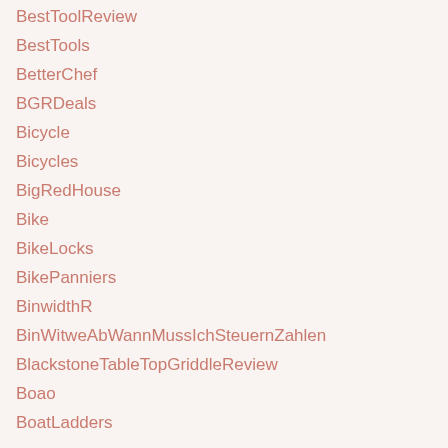BestToolReview
BestTools
BetterChef
BGRDeals
Bicycle
Bicycles
BigRedHouse
Bike
BikeLocks
BikePanniers
BinwidthR
BinWitweAbWannMussIchSteuernZahlen
BlackstoneTableTopGriddleReview
Boao
BoatLadders